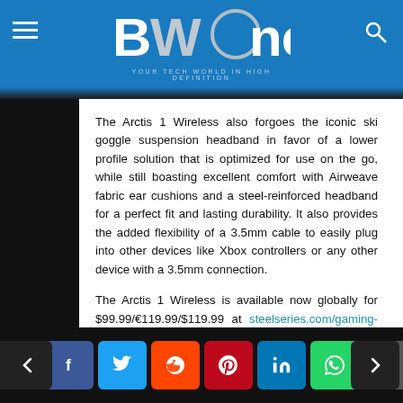BWOne — Your Tech World In High Definition
The Arctis 1 Wireless also forgoes the iconic ski goggle suspension headband in favor of a lower profile solution that is optimized for use on the go, while still boasting excellent comfort with Airweave fabric ear cushions and a steel-reinforced headband for a perfect fit and lasting durability. It also provides the added flexibility of a 3.5mm cable to easily plug into other devices like Xbox controllers or any other device with a 3.5mm connection.
The Arctis 1 Wireless is available now globally for $99.99/€119.99/$119.99 at steelseries.com/gaming-headsets/arctis-1-wireless/.
Social share buttons: back, comment, facebook, twitter, reddit, pinterest, linkedin, whatsapp, email, forward